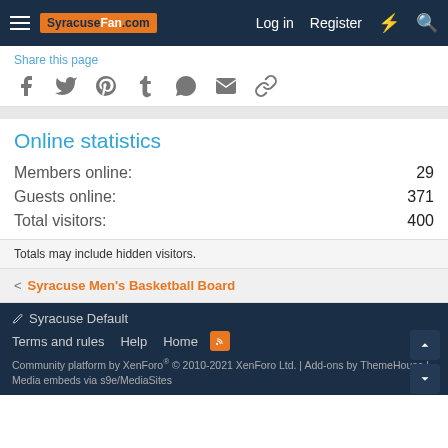SyracuseFan.com | Log in | Register
Share this page
[Figure (other): Social sharing icons: Facebook, Twitter, Pinterest, Tumblr, WhatsApp, Email, Link]
Online statistics
Members online: 29
Guests online: 371
Total visitors: 400
Totals may include hidden visitors.
< Syracuse Men's Basketball Board
Syracuse Default
Terms and rules  Help  Home
Community platform by XenForo® © 2010-2021 XenForo Ltd. | Add-ons by ThemeHouse | Media embeds via s9e/MediaSites